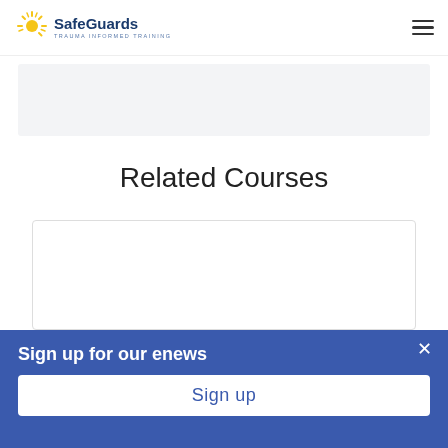SafeGuards — TRAUMA INFORMED TRAINING
[Figure (other): Light gray content placeholder box]
Related Courses
[Figure (other): White course card placeholder box]
Sign up for our enews
Sign up